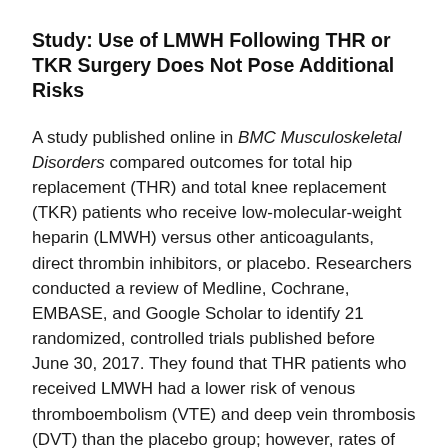Study: Use of LMWH Following THR or TKR Surgery Does Not Pose Additional Risks
A study published online in BMC Musculoskeletal Disorders compared outcomes for total hip replacement (THR) and total knee replacement (TKR) patients who receive low-molecular-weight heparin (LMWH) versus other anticoagulants, direct thrombin inhibitors, or placebo. Researchers conducted a review of Medline, Cochrane, EMBASE, and Google Scholar to identify 21 randomized, controlled trials published before June 30, 2017. They found that THR patients who received LMWH had a lower risk of venous thromboembolism (VTE) and deep vein thrombosis (DVT) than the placebo group; however, rates of pulmonary embolism (PE) risk were similar between the groups. TKR patients who received LMWH had a higher risk of VTE than